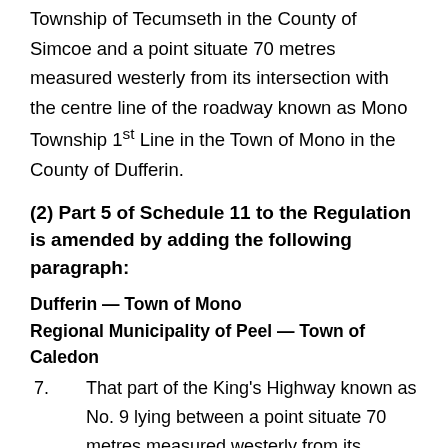Township of Tecumseth in the County of Simcoe and a point situate 70 metres measured westerly from its intersection with the centre line of the roadway known as Mono Township 1st Line in the Town of Mono in the County of Dufferin.
(2) Part 5 of Schedule 11 to the Regulation is amended by adding the following paragraph:
Dufferin — Town of Mono
Regional Municipality of Peel — Town of Caledon
7. That part of the King's Highway known as No. 9 lying between a point situate 70 metres measured westerly from its intersection with the centre line of the roadway known as Mono Township 1st Line in the Town of Mono in the County of